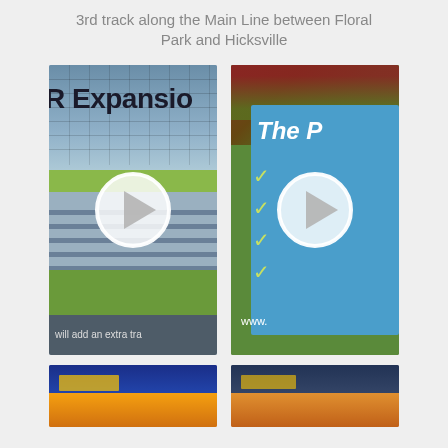3rd track along the Main Line between Floral Park and Hicksville
[Figure (screenshot): Video thumbnail of railroad expansion animation with play button overlay. Text reads 'R Expansio' (truncated). Bottom caption reads 'will add an extra tra']
[Figure (screenshot): Video thumbnail of a blue sign on grass with checkmarks and partial text 'The P' and 'www.' visible, with play button overlay]
[Figure (screenshot): Bottom left video thumbnail showing train/transit imagery in blue and orange]
[Figure (screenshot): Bottom right video thumbnail showing train/transit imagery]